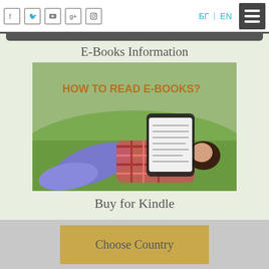Social icons | БГ | EN | Menu
E-Books Information
[Figure (photo): Woman lying on grass reading an e-reader/tablet, with text overlay 'HOW TO READ E-BOOKS?']
Buy for Kindle
Choose Country